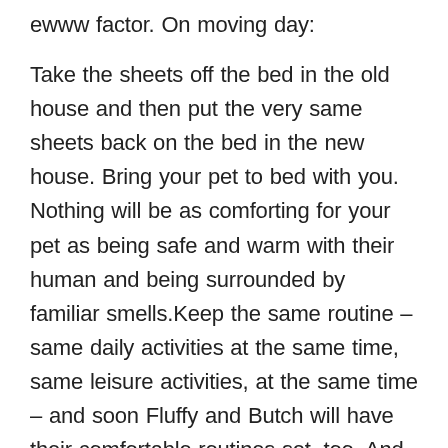ewww factor. On moving day:
Take the sheets off the bed in the old house and then put the very same sheets back on the bed in the new house. Bring your pet to bed with you. Nothing will be as comforting for your pet as being safe and warm with their human and being surrounded by familiar smells.Keep the same routine – same daily activities at the same time, same leisure activities, at the same time – and soon Fluffy and Butch will have their comfortable routines set, too. And they will be as happy in their new home as you are.